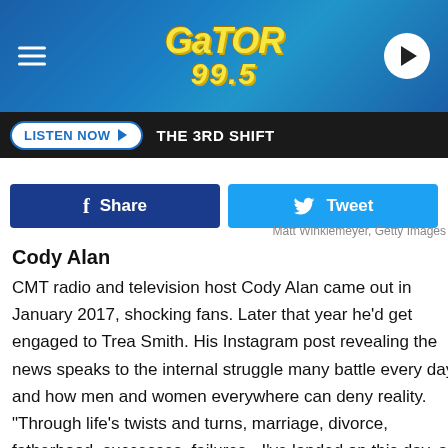[Figure (screenshot): Gator 99.5 radio station mobile app header with logo, hamburger menu, and play button on blue gradient background]
LISTEN NOW ▶   THE 3RD SHIFT
f  Share
🐦  Tweet
Matt Winklemeyer, Getty Images
Cody Alan
CMT radio and television host Cody Alan came out in January 2017, shocking fans. Later that year he'd get engaged to Trea Smith. His Instagram post revealing the news speaks to the internal struggle many battle every day and how men and women everywhere can deny reality. "Through life's twists and turns, marriage, divorce, fatherhood, successes, failures - I've landed on this day, a day when I'm happier and healthier than I've ever been," he wrote. "And I'm finally comfortable enough for everyone to